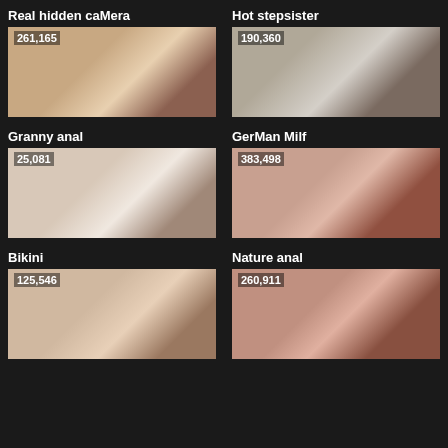Real hidden camera
[Figure (photo): Video thumbnail with view count 261,165]
Hot stepsister
[Figure (photo): Video thumbnail with view count 190,360]
Granny anal
[Figure (photo): Video thumbnail with view count 25,081]
GerMan Milf
[Figure (photo): Video thumbnail with view count 383,498]
Bikini
[Figure (photo): Video thumbnail with view count 125,546]
Mature anal
[Figure (photo): Video thumbnail with view count 260,911]